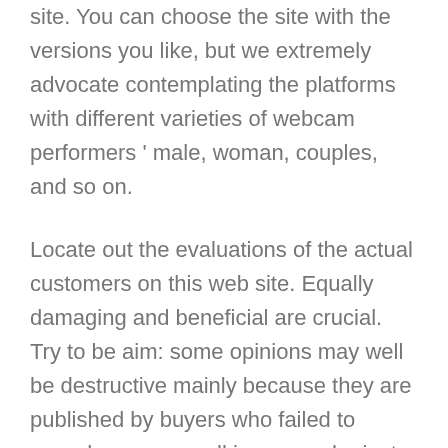site. You can choose the site with the versions you like, but we extremely advocate contemplating the platforms with different varieties of webcam performers ' male, woman, couples, and so on.
Locate out the evaluations of the actual customers on this web site. Equally damaging and beneficial are crucial. Try to be aim: some opinions may well be destructive mainly because they are published by buyers who failed to remedy a very small issue or who just obtained 'I will not want to fulfill you' from his/her favored performer. Some of the critiques may possibly be